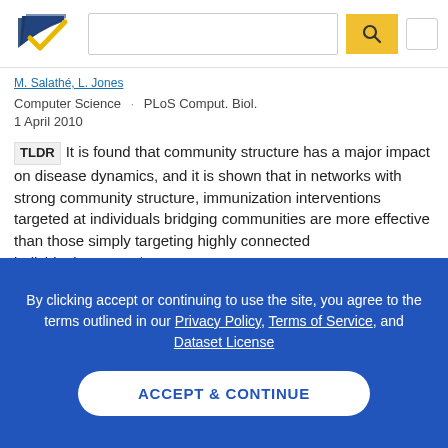[Figure (logo): Semantic Scholar logo with navy and gold bird/checkmark icon]
Authors (truncated/underlined)
Computer Science · PLoS Comput. Biol.
1 April 2010
TLDR It is found that community structure has a major impact on disease dynamics, and it is shown that in networks with strong community structure, immunization interventions targeted at individuals bridging communities are more effective than those simply targeting highly connected individuals. Expand
471 citations  36  PDF
By clicking accept or continuing to use the site, you agree to the terms outlined in our Privacy Policy, Terms of Service, and Dataset License
ACCEPT & CONTINUE